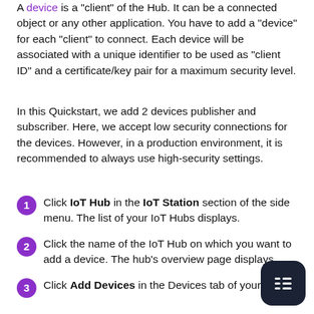A device is a "client" of the Hub. It can be a connected object or any other application. You have to add a "device" for each "client" to connect. Each device will be associated with a unique identifier to be used as "client ID" and a certificate/key pair for a maximum security level.
In this Quickstart, we add 2 devices publisher and subscriber. Here, we accept low security connections for the devices. However, in a production environment, it is recommended to always use high-security settings.
Click IoT Hub in the IoT Station section of the side menu. The list of your IoT Hubs displays.
Click the name of the IoT Hub on which you want to add a device. The hub's overview page displays.
Click Add Devices in the Devices tab of your H...